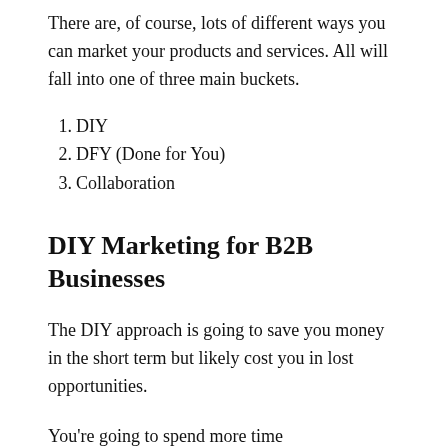There are, of course, lots of different ways you can market your products and services. All will fall into one of three main buckets.
DIY
DFY (Done for You)
Collaboration
DIY Marketing for B2B Businesses
The DIY approach is going to save you money in the short term but likely cost you in lost opportunities.
You're going to spend more time...